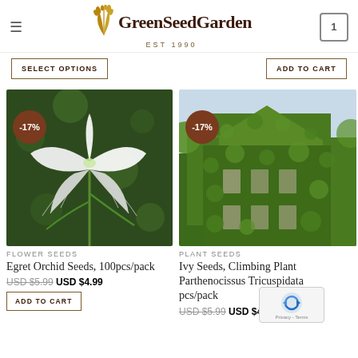GreenSeedGarden EST 1990
SELECT OPTIONS
ADD TO CART
[Figure (photo): Close-up photo of a white Egret Orchid flower with delicate fringed petals against green foliage background. -17% discount badge.]
FLOWER SEEDS
Egret Orchid Seeds, 100pcs/pack
USD $5.99  USD $4.99
ADD TO CART
[Figure (photo): Photo of a building completely covered in green ivy (Parthenocissus Tricuspidata). -17% discount badge.]
PLANT SEEDS
Ivy Seeds, Climbing Plant Parthenocissus Tricuspidata pcs/pack
USD $5.99  USD $4.99